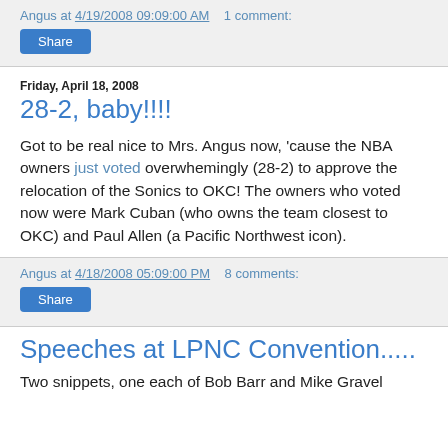Angus at 4/19/2008 09:09:00 AM    1 comment:
Share
Friday, April 18, 2008
28-2, baby!!!!
Got to be real nice to Mrs. Angus now, 'cause the NBA owners just voted overwhemingly (28-2) to approve the relocation of the Sonics to OKC! The owners who voted now were Mark Cuban (who owns the team closest to OKC) and Paul Allen (a Pacific Northwest icon).
Angus at 4/18/2008 05:09:00 PM    8 comments:
Share
Speeches at LPNC Convention.....
Two snippets, one each of Bob Barr and Mike Gravel